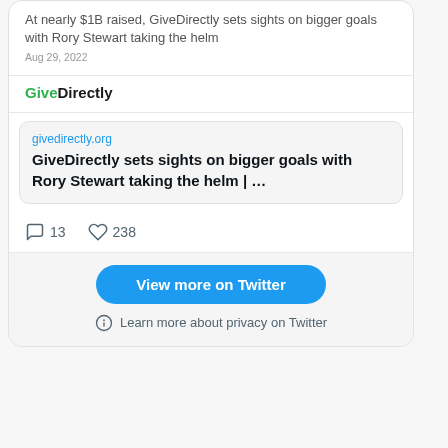[Figure (screenshot): Twitter/X embedded tweet widget showing a GiveDirectly article link preview with reply count 13, likes 238, a 'View more on Twitter' button, and a privacy notice.]
At nearly $1B raised, GiveDirectly sets sights on bigger goals with Rory Stewart taking the helm
Aug 29, 2022
GiveDirectly
givedirectly.org
GiveDirectly sets sights on bigger goals with Rory Stewart taking the helm | ...
13
238
View more on Twitter
Learn more about privacy on Twitter